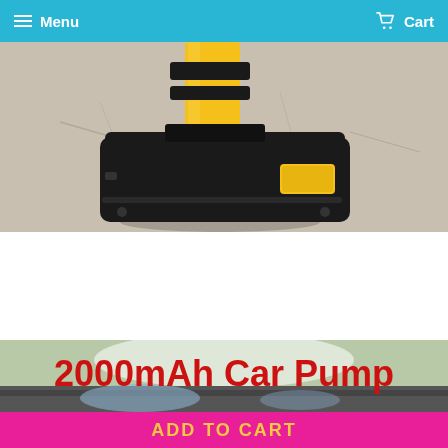Menu   Cart
[Figure (photo): Close-up photo of a yellow and black battery-powered car pump/inflator sitting on a concrete surface, showing the black battery pack base with yellow accents]
[Figure (photo): Product banner image showing '2000mAh Car Pump' text in large bold red letters on a light background, with a partial view of a car tire being inflated at the bottom]
ADD TO CART